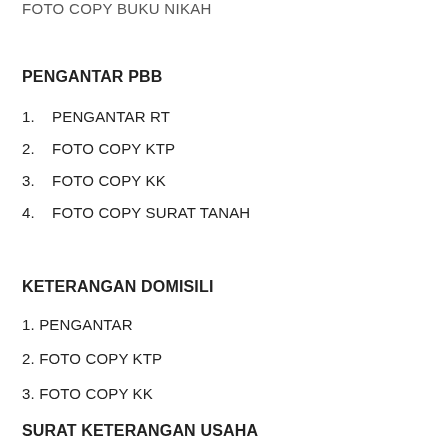FOTO COPY BUKU NIKAH
PENGANTAR PBB
1.   PENGANTAR RT
2.   FOTO COPY KTP
3.   FOTO COPY KK
4.   FOTO COPY SURAT TANAH
KETERANGAN DOMISILI
1. PENGANTAR
2. FOTO COPY KTP
3. FOTO COPY KK
SURAT KETERANGAN USAHA